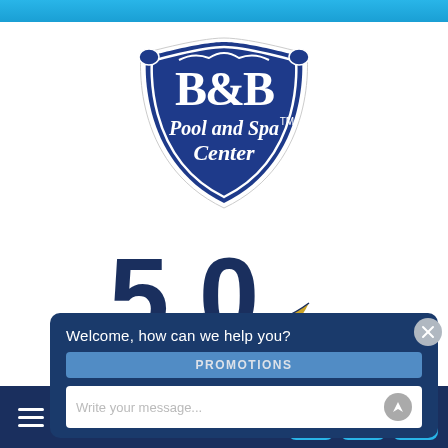[Figure (logo): B&B Pool and Spa Center logo — dark blue shield shape with white script text reading 'B&B Pool and Spa Center' and TM mark]
[Figure (logo): 50 Years anniversary logo — dark navy '50' numerals with gold swoosh wave and 'YEARS' text below]
Welcome, how can we help you?
PROMOTIONS
Write your message...
MENU